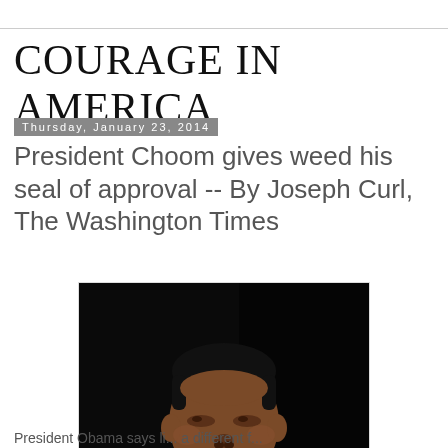COURAGE IN AMERICA
Thursday, January 23, 2014
President Choom gives weed his seal of approval -- By Joseph Curl, The Washington Times
[Figure (photo): A smiling man in a tuxedo with bow tie photographed against a dark background]
President Obama says ...